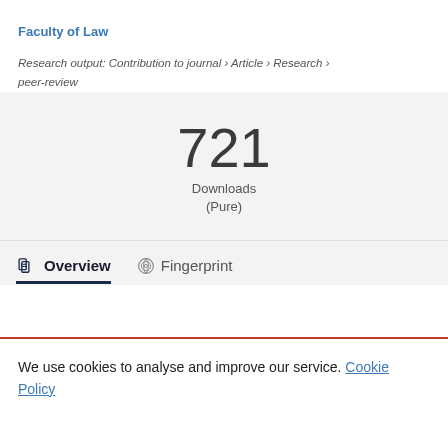Faculty of Law
Research output: Contribution to journal › Article › Research › peer-review
721
Downloads
(Pure)
Overview   Fingerprint
We use cookies to analyse and improve our service. Cookie Policy